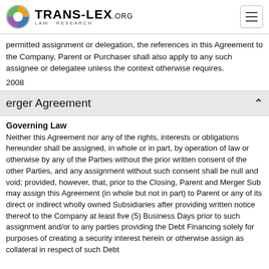TRANS-LEX.ORG LAW RESEARCH
permitted assignment or delegation, the references in this Agreement to the Company, Parent or Purchaser shall also apply to any such assignee or delegatee unless the context otherwise requires.
2008
erger Agreement
Governing Law
Neither this Agreement nor any of the rights, interests or obligations hereunder shall be assigned, in whole or in part, by operation of law or otherwise by any of the Parties without the prior written consent of the other Parties, and any assignment without such consent shall be null and void; provided, however, that, prior to the Closing, Parent and Merger Sub may assign this Agreement (in whole but not in part) to Parent or any of its direct or indirect wholly owned Subsidiaries after providing written notice thereof to the Company at least five (5) Business Days prior to such assignment and/or to any parties providing the Debt Financing solely for purposes of creating a security interest herein or otherwise assign as collateral in respect of such Debt